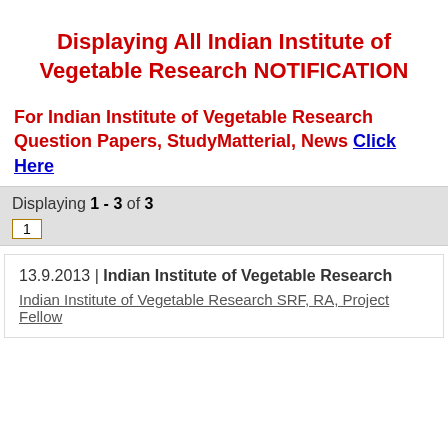Displaying All Indian Institute of Vegetable Research NOTIFICATION
For Indian Institute of Vegetable Research Question Papers, StudyMatterial, News Click Here
Displaying 1 - 3 of 3
1
13.9.2013 | Indian Institute of Vegetable Research
Indian Institute of Vegetable Research SRF, RA, Project Fellow